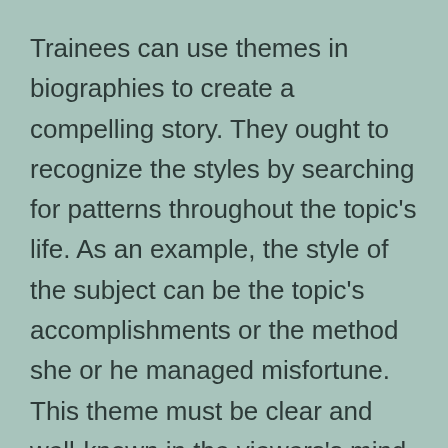Trainees can use themes in biographies to create a compelling story. They ought to recognize the styles by searching for patterns throughout the topic’s life. As an example, the style of the subject can be the topic’s accomplishments or the method she or he managed misfortune. This theme must be clear and well-known in the viewers’s mind, as well as ought to be shown in the means the topic is described. In a similar way, a bio can also include a person’s struggles.
When writing a bio, it is very important to focus